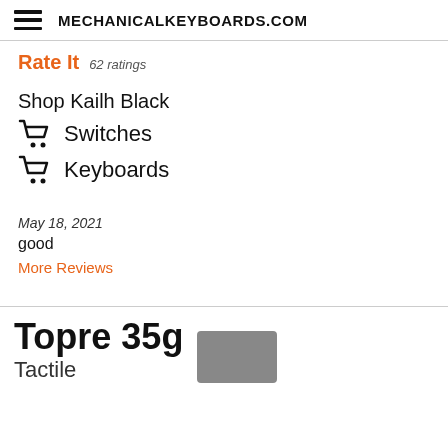MECHANICALKEYBOARDS.COM
Rate It  62 ratings
Shop Kailh Black
Switches
Keyboards
May 18, 2021
good
More Reviews
Topre 35g
Tactile